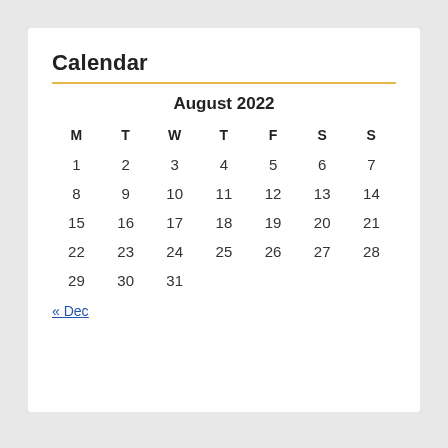Calendar
| M | T | W | T | F | S | S |
| --- | --- | --- | --- | --- | --- | --- |
| 1 | 2 | 3 | 4 | 5 | 6 | 7 |
| 8 | 9 | 10 | 11 | 12 | 13 | 14 |
| 15 | 16 | 17 | 18 | 19 | 20 | 21 |
| 22 | 23 | 24 | 25 | 26 | 27 | 28 |
| 29 | 30 | 31 |  |  |  |  |
« Dec